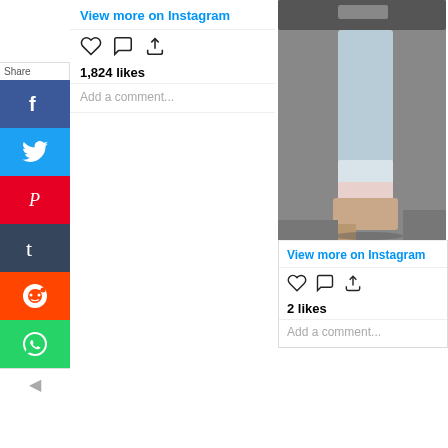[Figure (screenshot): Instagram post UI with View more on Instagram link, heart/comment/share icons, 1,824 likes, Add a comment field]
[Figure (photo): Fashion street style photo showing lower half of person in light blue/silver wide-leg pants and beige heeled shoes, photographed on grey pavement near a car]
[Figure (screenshot): Instagram post UI with View more on Instagram link, heart/comment/share icons, 2 likes, Add a comment field]
[Figure (screenshot): Social media share sidebar with Facebook, Twitter, Pinterest, Tumblr, Reddit, WhatsApp buttons and a Share label]
These people understand French fashion street style! What a fantastic representation of how well done the fashions seen on the